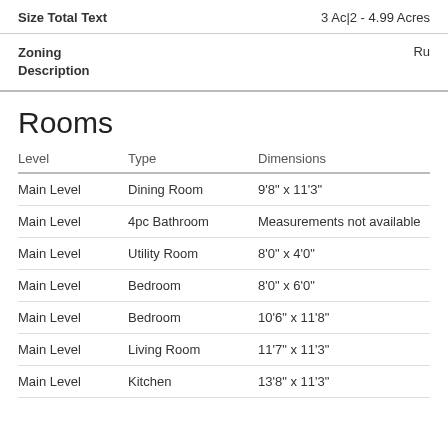| Size Total Text |  | 3 Ac|2 - 4.99 Acres |
| --- | --- | --- |
| Zoning Description |  | Ru |
| --- | --- | --- |
Rooms
| Level | Type | Dimensions |
| --- | --- | --- |
| Main Level | Dining Room | 9'8" x 11'3" |
| Main Level | 4pc Bathroom | Measurements not available |
| Main Level | Utility Room | 8'0" x 4'0" |
| Main Level | Bedroom | 8'0" x 6'0" |
| Main Level | Bedroom | 10'6" x 11'8" |
| Main Level | Living Room | 11'7" x 11'3" |
| Main Level | Kitchen | 13'8" x 11'3" |